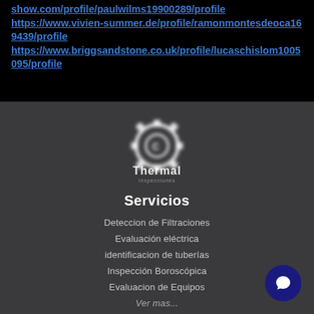show.com/profile/paulwilms19900289/profile https://www.vivien-summer.de/profile/ramonmontesdeoca169439/profile https://www.briggsandstone.co.uk/profile/lucaschislom1005095/profile
[Figure (logo): Thermal logo — white gear/cog icon with 'Thermal' text on dark gray background]
Servicios
Deteccion de Filtraciones
Evaluación eléctrica
identificacion de tuberías
Inspección Boroscópica
Evaluacion de Equipos
Ver mas...